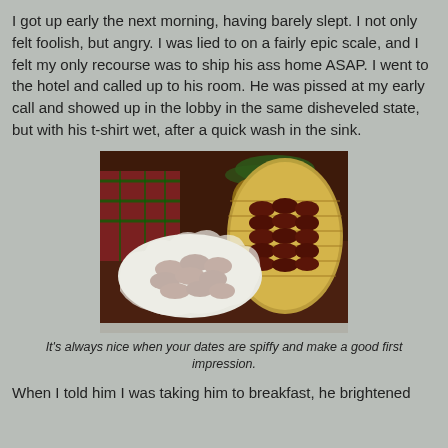I got up early the next morning, having barely slept. I not only felt foolish, but angry. I was lied to on a fairly epic scale, and I felt my only recourse was to ship his ass home ASAP. I went to the hotel and called up to his room. He was pissed at my early call and showed up in the lobby in the same disheveled state, but with his t-shirt wet, after a quick wash in the sink.
[Figure (photo): A photograph of dark reddish-brown dates fruit arranged on a white scalloped plate and in a woven basket, with pine branches and a pine cone in the background, on a dark wooden surface with a plaid fabric.]
It's always nice when your dates are spiffy and make a good first impression.
When I told him I was taking him to breakfast, he brightened